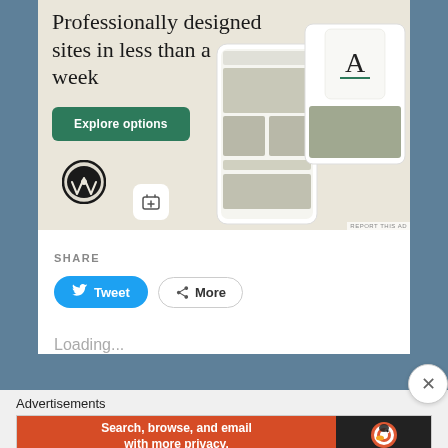[Figure (infographic): WordPress advertisement showing 'Professionally designed sites in less than a week' with an Explore options button, WordPress logo, and mockup images of websites on mobile screens. Beige/cream background.]
REPORT THIS AD
SHARE
Tweet
More
Loading...
Advertisements
[Figure (infographic): DuckDuckGo advertisement: 'Search, browse, and email with more privacy. All in One Free App' on orange background with DuckDuckGo logo on dark background.]
REPORT THIS AD